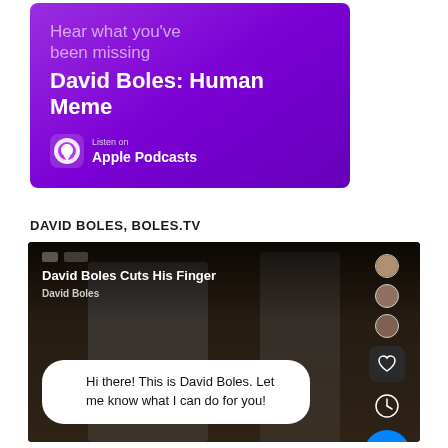[Figure (screenshot): Apple Podcasts promotional banner on purple gradient background. Text: 'Hear what you've been missing' in light purple, 'David Boles: Human Meme' in bold white, and 'Listen on Apple Podcasts' with podcast icon logo.]
DAVID BOLES, BOLES.TV
[Figure (screenshot): Screenshot of a video player showing 'David Boles Cuts His Finger' with a Facebook Messenger chat bubble overlay saying 'Hi there! This is David Boles. Let me know what I can do for you!' Right sidebar shows profile avatars, heart button, clock button, and blue Messenger icon.]